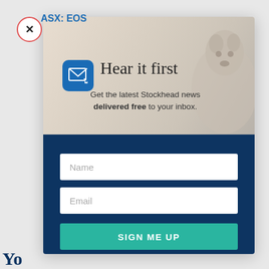ASX: EOS
[Figure (screenshot): Newsletter signup modal popup with email icon, groundhog/marmot photo background, 'Hear it first' heading, subtitle text, Name and Email input fields, and a teal 'SIGN ME UP' button on a dark navy background]
Hear it first
Get the latest Stockhead news delivered free to your inbox.
Name
Email
SIGN ME UP
Yo